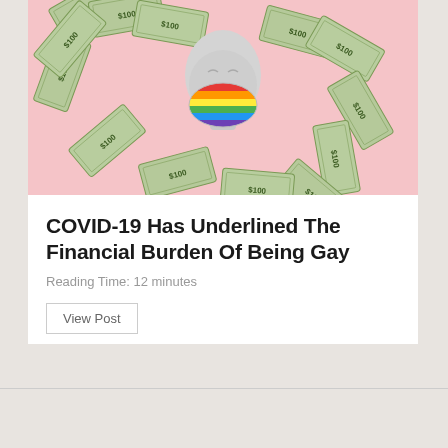[Figure (photo): A white mannequin head wearing a rainbow pride face mask, surrounded by a circle of $100 dollar bills, on a pink background.]
COVID-19 Has Underlined The Financial Burden Of Being Gay
Reading Time: 12 minutes
View Post